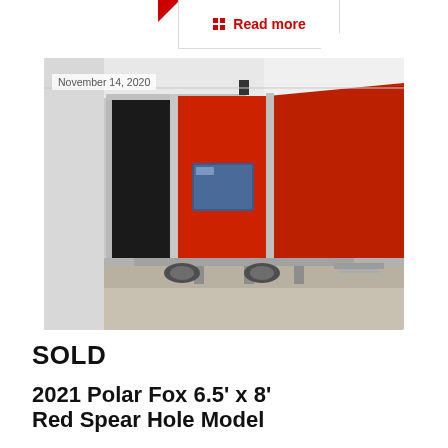Read more
[Figure (photo): A red ice fishing shelter / spear hole house on a trailer, photographed indoors in a warehouse. The unit is red with aluminum trim, has a black door open on the left side and a small rectangular window on the front face. Date overlay: November 14, 2020.]
November 14, 2020
SOLD
2021 Polar Fox 6.5' x 8' Red Spear Hole Model